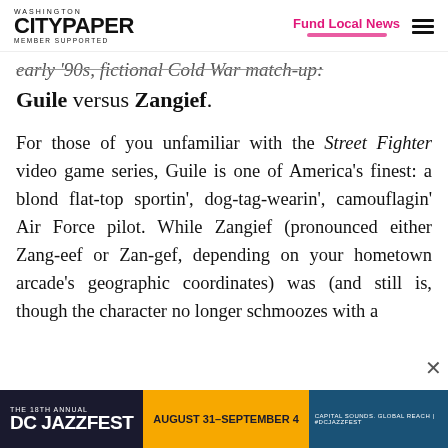Washington City Paper - Member Supported | Fund Local News
early '90s, fictional Cold War match-up:
Guile versus Zangief.
For those of you unfamiliar with the Street Fighter video game series, Guile is one of America's finest: a blond flat-top sportin', dog-tag-wearin', camouflagin' Air Force pilot. While Zangief (pronounced either Zang-eef or Zan-gef, depending on your hometown arcade's geographic coordinates) was (and still is, though the character no longer schmoozes with a
[Figure (other): DC Jazzfest advertisement banner - The 18th Annual DC Jazzfest, August 31 - September 4]